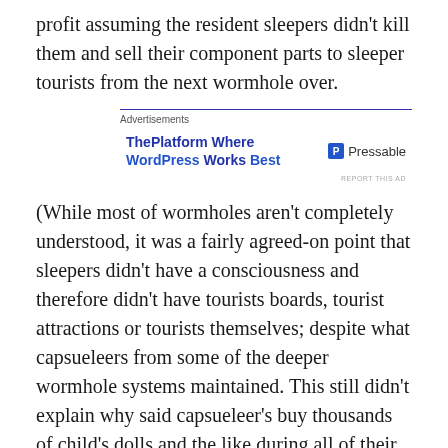profit assuming the resident sleepers didn't kill them and sell their component parts to sleeper tourists from the next wormhole over.
[Figure (other): Advertisement banner: ThePlatform Where WordPress Works Best — Pressable]
(While most of wormholes aren't completely understood, it was a fairly agreed-on point that sleepers didn't have a consciousness and therefore didn't have tourists boards, tourist attractions or tourists themselves; despite what capsueleers from some of the deeper wormhole systems maintained. This still didn't explain why said capsueleer's buy thousands of child's dolls and the like during all of their seldom visits to civilized space, but as long as they keep buying them no-one sees reason to question it.)